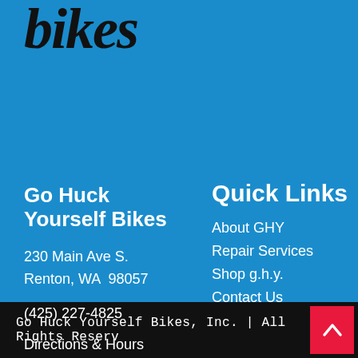[Figure (logo): Go Huck Yourself Bikes logo in large gothic/blackletter font, dark text on blue background]
Go Huck Yourself Bikes
230 Main Ave S.
Renton, WA  98057
(425) 227-4825
Directions & Hours
Quick Links
About GHY
Repair Services
Shop g.h.y.
Contact Us
Go Huck Yourself Bikes, Inc. | All Rights Reserv…